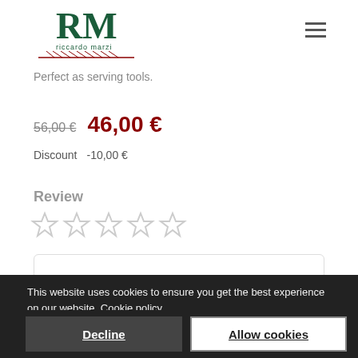[Figure (logo): RM Riccardo Marzi logo with decorative leaf/branch graphic]
Perfect as serving tools.
56,00 €  46,00 €
Discount    -10,00 €
Review
[Figure (other): Five empty star rating icons]
This website uses cookies to ensure you get the best experience on our website. Cookie policy Privacy policy
Decline
Allow cookies